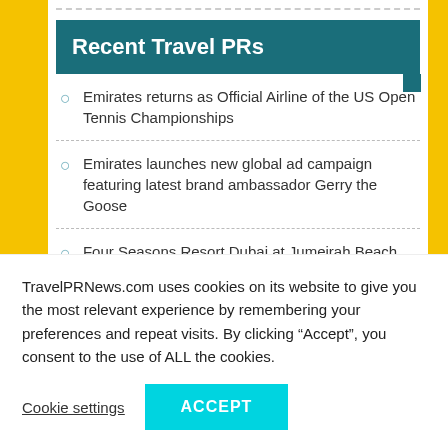Recent Travel PRs
Emirates returns as Official Airline of the US Open Tennis Championships
Emirates launches new global ad campaign featuring latest brand ambassador Gerry the Goose
Four Seasons Resort Dubai at Jumeirah Beach announces reopening of Sea Fu restaurant
Four Seasons Hotel Gresham Palace Budapest appoints Federico Giovine as Hotel Manager
TravelPRNews.com uses cookies on its website to give you the most relevant experience by remembering your preferences and repeat visits. By clicking “Accept”, you consent to the use of ALL the cookies.
Cookie settings | ACCEPT